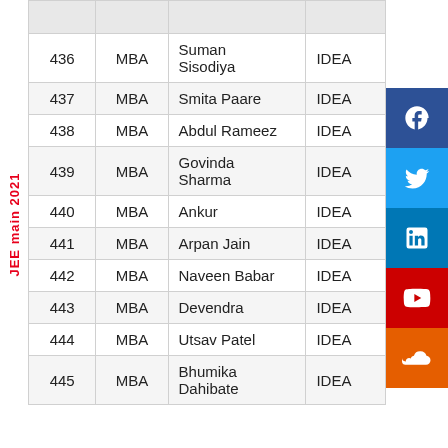| # | Course | Name | Organization |
| --- | --- | --- | --- |
| 436 | MBA | Suman Sisodiya | IDEA |
| 437 | MBA | Smita Paare | IDEA |
| 438 | MBA | Abdul Rameez | IDEA |
| 439 | MBA | Govinda Sharma | IDEA |
| 440 | MBA | Ankur | IDEA |
| 441 | MBA | Arpan Jain | IDEA |
| 442 | MBA | Naveen Babar | IDEA |
| 443 | MBA | Devendra | IDEA |
| 444 | MBA | Utsav Patel | IDEA |
| 445 | MBA | Bhumika Dahibate | IDEA |
JEE main 2021